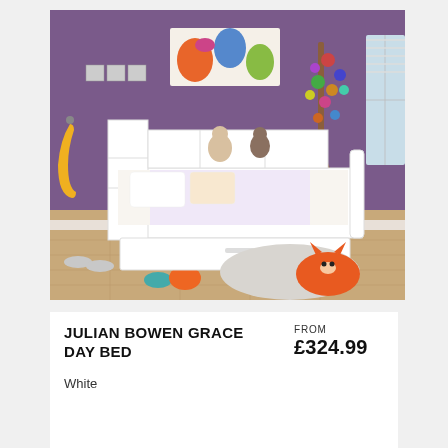[Figure (photo): Julian Bowen Grace Day Bed in white, shown in a child's bedroom with purple walls, floral wall art, a tree wall decal, colorful bedding, stuffed toys, an orange fox rug, and a pull-out trundle bed beneath.]
JULIAN BOWEN GRACE DAY BED
FROM £324.99
White